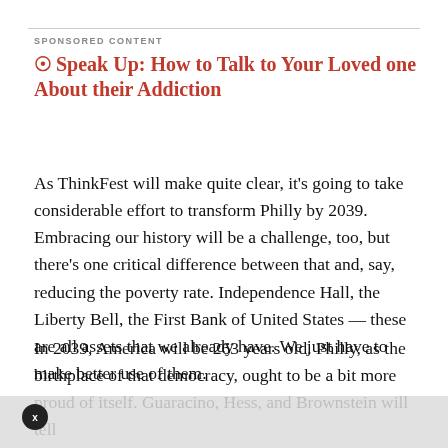SPONSORED CONTENT
⊙ Speak Up: How to Talk to Your Loved one About their Addiction
As ThinkFest will make quite clear, it's going to take considerable effort to transform Philly by 2039. Embracing our history will be a challenge, too, but there's one critical difference between that and, say, reducing the poverty rate. Independence Hall, the Liberty Bell, the First Bank of United States — these are all assets that we already have. We just have to make better use of them.
In 2039, America will be 263 years old. Philly, as the birthplace of that democracy, ought to be a bit more proud of itself. Guaracino, Hess, and Brownstein will tell